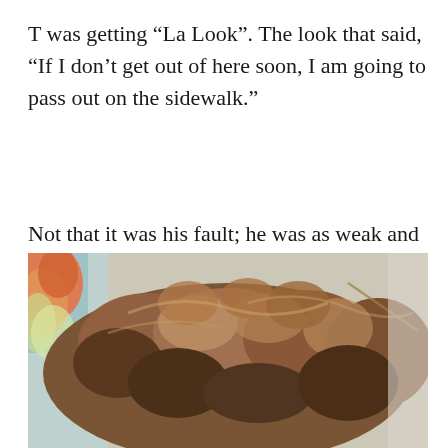T was getting “La Look”. The look that said, “If I don’t get out of here soon, I am going to pass out on the sidewalk.”
Not that it was his fault; he was as weak and frustrated as I was.
[Figure (photo): Close-up photo of a person with curly/wavy brown hair styled up, with a colorful fabric visible in the background.]